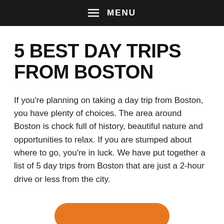MENU
5 BEST DAY TRIPS FROM BOSTON
If you're planning on taking a day trip from Boston, you have plenty of choices. The area around Boston is chock full of history, beautiful nature and opportunities to relax. If you are stumped about where to go, you're in luck. We have put together a list of 5 day trips from Boston that are just a 2-hour drive or less from the city.
[Figure (other): Orange rounded rectangle button, partially visible at bottom of page]